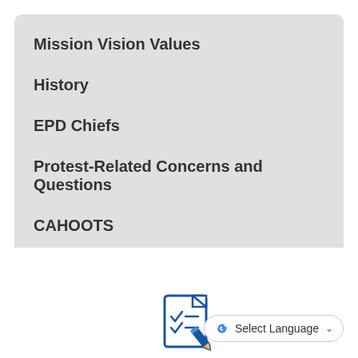Mission Vision Values
History
EPD Chiefs
Protest-Related Concerns and Questions
CAHOOTS
[Figure (illustration): Document checklist icon with pencil, outline style in blue]
Select Language